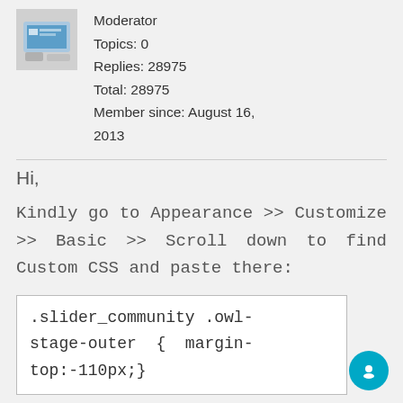[Figure (screenshot): User avatar thumbnail showing a website/device mockup image]
Moderator
Topics: 0
Replies: 28975
Total: 28975
Member since: August 16, 2013
Hi,
Kindly go to Appearance >> Customize >> Basic >> Scroll down to find Custom CSS and paste there:
.slider_community .owl-stage-outer { margin-top:-110px;}
Regards,